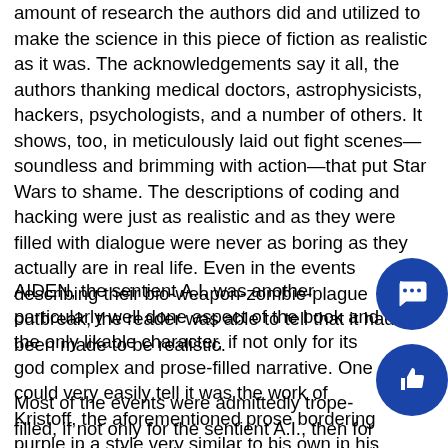amount of research the authors did and utilized to make the science in this piece of fiction as realistic as it was. The acknowledgements say it all, the authors thanking medical doctors, astrophysicists, hackers, psychologists, and a number of others. It shows, too, in meticulously laid out fight scenes—soundless and brimming with action—that put Star Wars to shame. The descriptions of coding and hacking were just as realistic and as they were filled with dialogue were never as boring as they actually are in real life. Even in the events describing their bio-weapon-zombie-plague outbreak, the reader was able to tell that it had been made to be realistic.
AIDEN, the sentient A.I. was another particularly well done aspect of the book and the only likable character, if not only for its god complex and prose-filled narrative. One could very easily tell it was the work of Kristoff, the aforementioned prose bordering purple in a style very similar to his own in his Nevernight Chronicles, his high fantasy series. It was well written and not used too much more than it needed, which made it far less obnoxious than it could have been.
Most of the events were admittedly trope-filled, if not only for the sentient A.I., then for the zombie plague (something far more ironic to